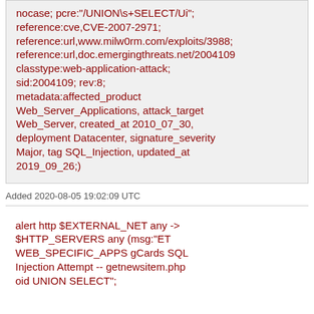nocase; pcre:"/UNION\s+SELECT/Ui"; reference:cve,CVE-2007-2971; reference:url,www.milw0rm.com/exploits/3988; reference:url,doc.emergingthreats.net/2004109 classtype:web-application-attack; sid:2004109; rev:8; metadata:affected_product Web_Server_Applications, attack_target Web_Server, created_at 2010_07_30, deployment Datacenter, signature_severity Major, tag SQL_Injection, updated_at 2019_09_26;)
Added 2020-08-05 19:02:09 UTC
alert http $EXTERNAL_NET any -> $HTTP_SERVERS any (msg:"ET WEB_SPECIFIC_APPS gCards SQL Injection Attempt -- getnewsitem.php oid UNION SELECT";